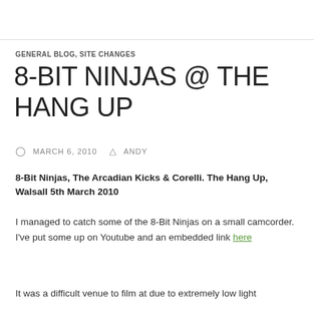GENERAL BLOG, SITE CHANGES
8-BIT NINJAS @ THE HANG UP
MARCH 6, 2010   ANDY
8-Bit Ninjas, The Arcadian Kicks & Corelli. The Hang Up, Walsall 5th March 2010
I managed to catch some of the 8-Bit Ninjas on a small camcorder. I've put some up on Youtube and an embedded link here
It was a difficult venue to film at due to extremely low light